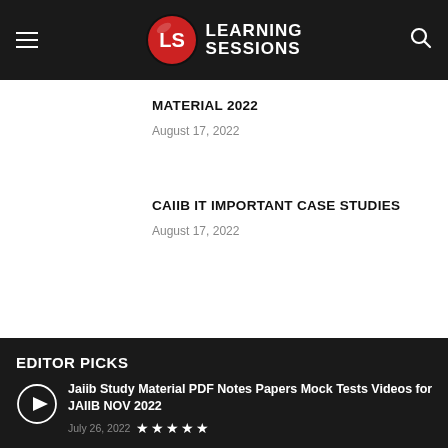[Figure (logo): Learning Sessions logo with LS badge and hamburger menu and search icon on dark header bar]
MATERIAL 2022
August 17, 2022
CAIIB IT IMPORTANT CASE STUDIES
August 17, 2022
EDITOR PICKS
Jaiib Study Material PDF Notes Papers Mock Tests Videos for JAIIB NOV 2022
July 26, 2022 ★★★★★